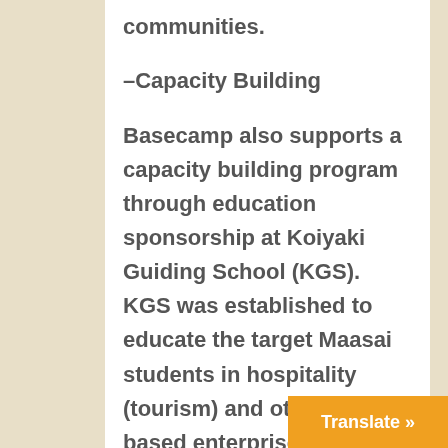communities.
-Capacity Building
Basecamp also supports a capacity building program through education sponsorship at Koiyaki Guiding School (KGS). KGS was established to educate the target Maasai students in hospitality (tourism) and other nature based enterprise courses, thereby providing employment opportuni...